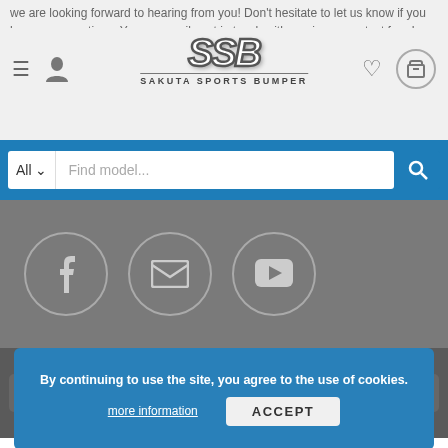We are looking forward to hearing from you! Don't hesitate to let us know if you have any questions.
You can easily get in touch with us via our contact form!
[Figure (logo): SSB Sakuta Sports Bumper logo with stylized SSB text and subtitle]
[Figure (screenshot): Navigation bar with hamburger menu, user icon, heart/wishlist icon, and cart icon]
[Figure (screenshot): Search bar with All dropdown, Find model... placeholder, and search button on blue background]
[Figure (screenshot): Social media icons: Facebook, Email/envelope, YouTube play button - grey circular icons on grey background]
[Figure (screenshot): Payment method badges: VISA, PayPal, stripe, MasterCard, BANK TRANSFER, wallet/cash icon, credit card icon, Verified by VISA]
By continuing to use the site, you agree to the use of cookies.
more information
ACCEPT
- With Love From Japan -